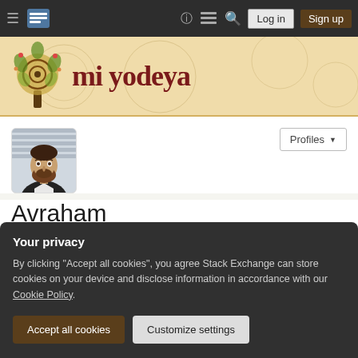[Figure (screenshot): Mi Yodeya website navigation bar with hamburger menu, site logo, icons for help, chat, search, and Log in / Sign up buttons]
[Figure (logo): Mi Yodeya site header with decorative tree logo and site name 'mi yodeya' in dark red serif font on tan patterned background]
[Figure (photo): Profile photo of Avraham, a bearded man in a dark jacket]
Avraham
Member for 11 years, 8 months   Last seen more than a month ago
Israel
Your privacy
By clicking "Accept all cookies", you agree Stack Exchange can store cookies on your device and disclose information in accordance with our Cookie Policy.
Accept all cookies   Customize settings